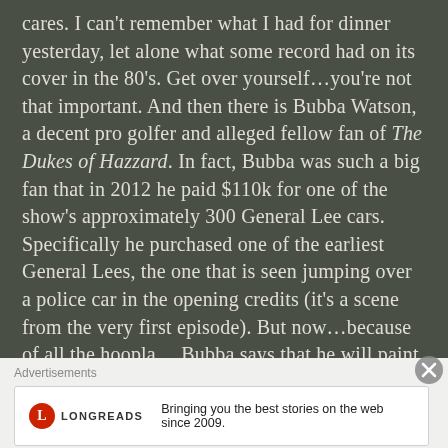cares. I can't remember what I had for dinner yesterday, let alone what some record had on its cover in the 80's. Get over yourself…you're not that important. And then there is Bubba Watson, a decent pro golfer and alleged fellow fan of The Dukes of Hazzard. In fact, Bubba was such a big fan that in 2012 he paid $110k for one of the show's approximately 300 General Lee cars. Specifically he purchased one of the earliest General Lees, the one that is seen jumping over a police car in the opening credits (it's a scene from the very first episode). But now…because of all the hoopla… Bubba says that he will paint over the rebel flag on top of the car, replacing it with the American flag. That'd be like owning an original Batmobile and painting it green, or replacing the gull-winged doors on a Back to the Future DeLorean
Advertisements
[Figure (other): Longreads advertisement banner with logo and tagline: Bringing you the best stories on the web since 2009.]